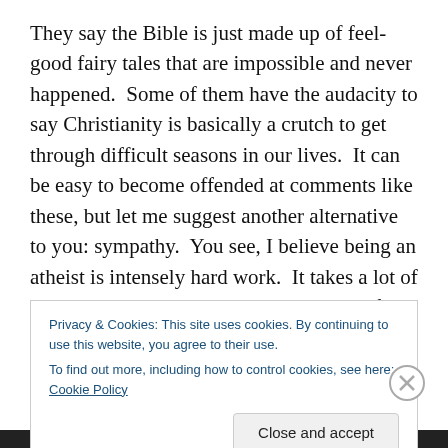They say the Bible is just made up of feel-good fairy tales that are impossible and never happened.  Some of them have the audacity to say Christianity is basically a crutch to get through difficult seasons in our lives.  It can be easy to become offended at comments like these, but let me suggest another alternative to you: sympathy.  You see, I believe being an atheist is intensely hard work.  It takes a lot of brain and will power to convince yourself that there is no intelligent design, that there is nothing beyond the grave, and that there may be seemingly no meaning behind all the pain and suffering we experience in our
Privacy & Cookies: This site uses cookies. By continuing to use this website, you agree to their use.
To find out more, including how to control cookies, see here: Cookie Policy